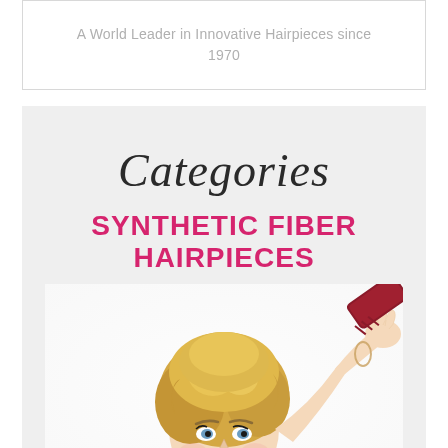A World Leader in Innovative Hairpieces since 1970
Categories
SYNTHETIC FIBER HAIRPIECES
[Figure (photo): Woman with short blonde hair holding a comb or brush tool to a hairpiece on her head, wearing a bracelet, white background]